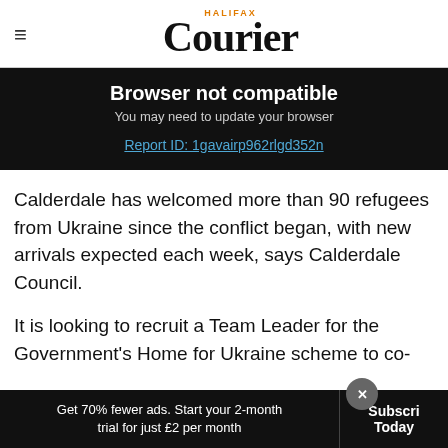Halifax Courier
Browser not compatible
You may need to update your browser
Report ID: 1gavairp962rlgd352n
Calderdale has welcomed more than 90 refugees from Ukraine since the conflict began, with new arrivals expected each week, says Calderdale Council.
It is looking to recruit a Team Leader for the Government's Home for Ukraine scheme to co-
Get 70% fewer ads. Start your 2-month trial for just £2 per month  Subscribe Today